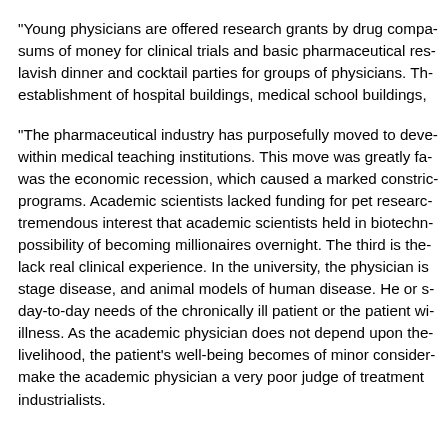"Young physicians are offered research grants by drug compa- sums of money for clinical trials and basic pharmaceutical res- lavish dinner and cocktail parties for groups of physicians. Th- establishment of hospital buildings, medical school buildings,
"The pharmaceutical industry has purposefully moved to deve- within medical teaching institutions. This move was greatly fa- was the economic recession, which caused a marked constric- programs. Academic scientists lacked funding for pet researc- tremendous interest that academic scientists held in biotechn- possibility of becoming millionaires overnight. The third is the- lack real clinical experience. In the university, the physician is stage disease, and animal models of human disease. He or s- day-to-day needs of the chronically ill patient or the patient wi- illness. As the academic physician does not depend upon the- livelihood, the patient's well-being becomes of minor consider- make the academic physician a very poor judge of treatment industrialists.